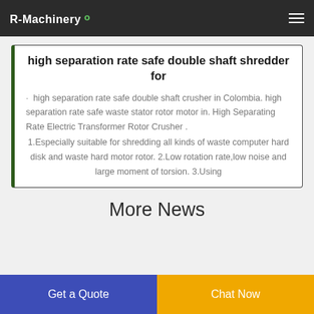R-Machinery
high separation rate safe double shaft shredder for
· high separation rate safe double shaft crusher in Colombia. high separation rate safe waste stator rotor motor in. High Separating Rate Electric Transformer Rotor Crusher . 1.Especially suitable for shredding all kinds of waste computer hard disk and waste hard motor rotor. 2.Low rotation rate,low noise and large moment of torsion. 3.Using
More News
Get a Quote
Chat Now